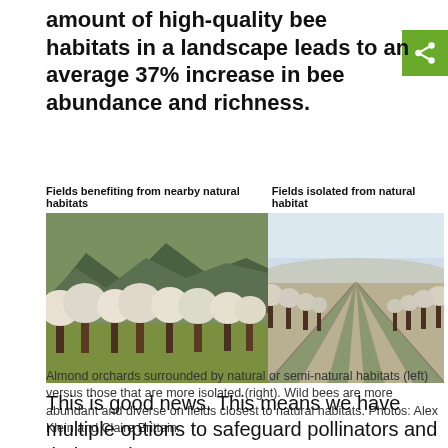amount of high-quality bee habitats in a landscape leads to an average 37% increase in bee abundance and richness.
[Figure (photo): Two side-by-side photos of almond orchards. Left photo labeled 'Fields benefiting from nearby natural habitats' shows an almond orchard with flowering trees and green grass surrounded by forested hills. Right photo labeled 'Fields isolated from natural habitat' shows an almond orchard with rows of trees in a more isolated, open setting.]
Almond orchards surrounded by natural or semi-natural habitats (left) versus those that are more isolated (right). Wild bees are more abundant and diverse on fields closest to natural habitats. Photos: Alex Klein and Claire Brittain.
This is good news. This means we have multiple options to safeguard pollinators and their services to crops. We